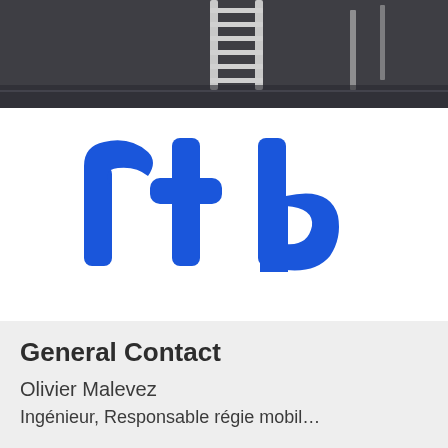[Figure (photo): Photograph of studio or broadcast equipment (ladder/rail structure) in a dark environment, partially cropped at top of page]
[Figure (logo): RTBF logo in bold blue rounded letters on white background, partially cropped showing 'rtb' characters]
General Contact
Olivier Malevez
Ingénieur, Responsable régie mobil…